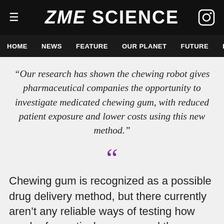ZME SCIENCE
HOME  NEWS  FEATURE  OUR PLANET  FUTURE  HEALT
“Our research has shown the chewing robot gives pharmaceutical companies the opportunity to investigate medicated chewing gum, with reduced patient exposure and lower costs using this new method.”
[Figure (other): Large purple opening double-quotation mark decorative element]
Chewing gum is recognized as a possible drug delivery method, but there currently aren’t any reliable ways of testing how much of a particular compound they can release during